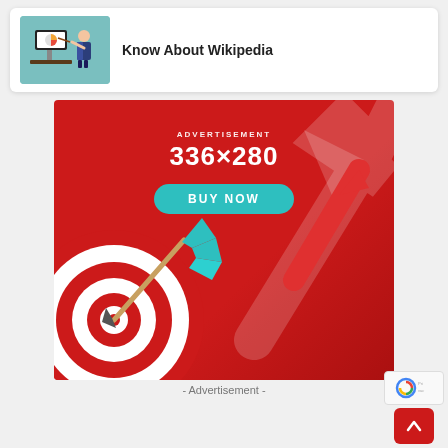[Figure (illustration): Thumbnail image of a cartoon businessman presenting charts on a computer screen, with a teal/green background, inside a card that also contains text 'Know About Wikipedia']
Know About Wikipedia
[Figure (infographic): Red advertisement banner 336x280 with 'ADVERTISEMENT' label, '336x280' text, 'BUY NOW' teal button, and a dartboard with an arrow hitting the bullseye, plus an upward trending arrow in the background]
- Advertisement -